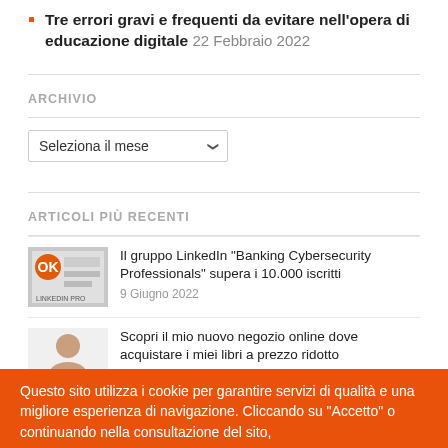Tre errori gravi e frequenti da evitare nell'opera di educazione digitale 22 Febbraio 2022
ARCHIVIO
Seleziona il mese
ARTICOLI PIÙ RECENTI
Il gruppo LinkedIn "Banking Cybersecurity Professionals" supera i 10.000 iscritti
9 Giugno 2022
Scopri il mio nuovo negozio online dove acquistare i miei libri a prezzo ridotto
2 Maggio 2022
Questo sito utilizza i cookie per garantire servizi di qualità e una migliore esperienza di navigazione. Cliccando su "Accetto" o continuando nella consultazione del sito,